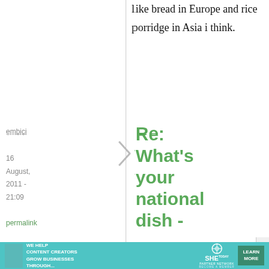like bread in Europe and rice porridge in Asia i think.
embici
16 August, 2011 - 21:09
permalink
Re: What's your national dish -
[Figure (other): Ad banner for SHE Media Partner Network with text: WE HELP CONTENT CREATORS GROW BUSINESSES THROUGH... and LEARN MORE button]